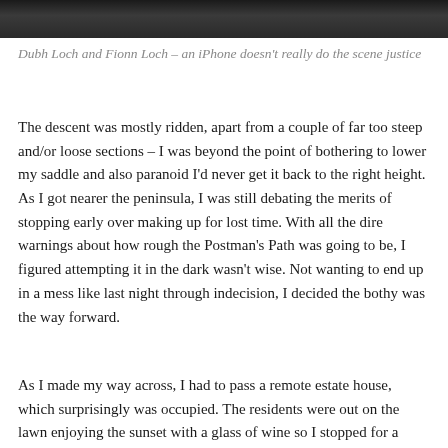[Figure (photo): Dark landscape photograph showing Dubh Loch and Fionn Loch, partially visible at top of page]
Dubh Loch and Fionn Loch – an iPhone doesn't really do the scene justice
The descent was mostly ridden, apart from a couple of far too steep and/or loose sections – I was beyond the point of bothering to lower my saddle and also paranoid I'd never get it back to the right height. As I got nearer the peninsula, I was still debating the merits of stopping early over making up for lost time. With all the dire warnings about how rough the Postman's Path was going to be, I figured attempting it in the dark wasn't wise. Not wanting to end up in a mess like last night through indecision, I decided the bothy was the way forward.
As I made my way across, I had to pass a remote estate house, which surprisingly was occupied. The residents were out on the lawn enjoying the sunset with a glass of wine so I stopped for a natter. It turned out they had